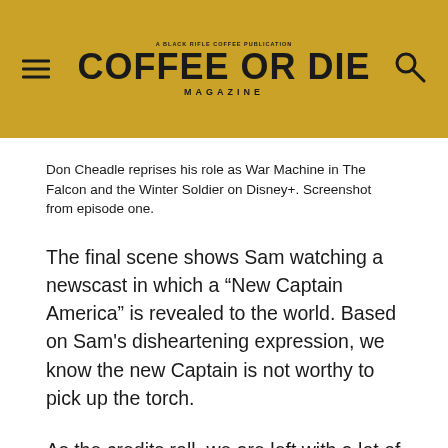COFFEE OR DIE MAGAZINE
Don Cheadle reprises his role as War Machine in The Falcon and the Winter Soldier on Disney+. Screenshot from episode one.
The final scene shows Sam watching a newscast in which a “New Captain America” is revealed to the world. Based on Sam's disheartening expression, we know the new Captain is not worthy to pick up the torch.
As the credits roll, we are left with a lot of questions. When will the two protagonists meet back up? What’s the deal with the new Captain America? And who is behind the Flag Smashers? Hopefully next week’s